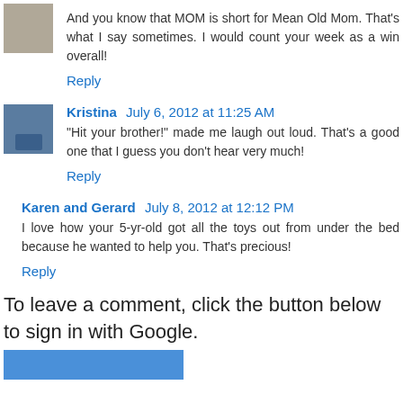And you know that MOM is short for Mean Old Mom. That's what I say sometimes. I would count your week as a win overall!
Reply
Kristina July 6, 2012 at 11:25 AM
"Hit your brother!" made me laugh out loud. That's a good one that I guess you don't hear very much!
Reply
Karen and Gerard July 8, 2012 at 12:12 PM
I love how your 5-yr-old got all the toys out from under the bed because he wanted to help you. That's precious!
Reply
To leave a comment, click the button below to sign in with Google.